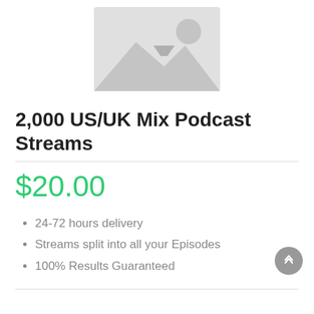[Figure (illustration): Placeholder image icon — grey mountain/landscape silhouette on light grey background]
2,000 US/UK Mix Podcast Streams
$20.00
24-72 hours delivery
Streams split into all your Episodes
100% Results Guaranteed